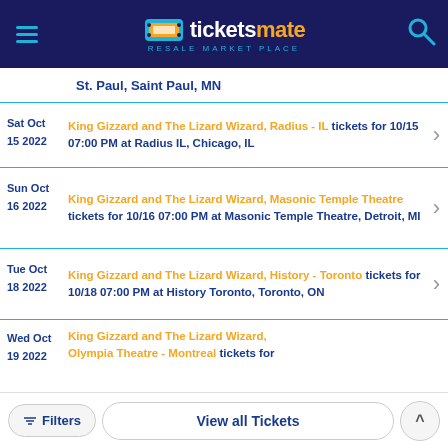ticketsmate RESALE MARKET PLACE
St. Paul, Saint Paul, MN
Sat Oct 15 2022 — King Gizzard and The Lizard Wizard, Radius - IL tickets for 10/15 07:00 PM at Radius IL, Chicago, IL
Sun Oct 16 2022 — King Gizzard and The Lizard Wizard, Masonic Temple Theatre tickets for 10/16 07:00 PM at Masonic Temple Theatre, Detroit, MI
Tue Oct 18 2022 — King Gizzard and The Lizard Wizard, History - Toronto tickets for 10/18 07:00 PM at History Toronto, Toronto, ON
Wed Oct 19 2022 — King Gizzard and The Lizard Wizard, Olympia Theatre - Montreal tickets for
Filters | View all Tickets